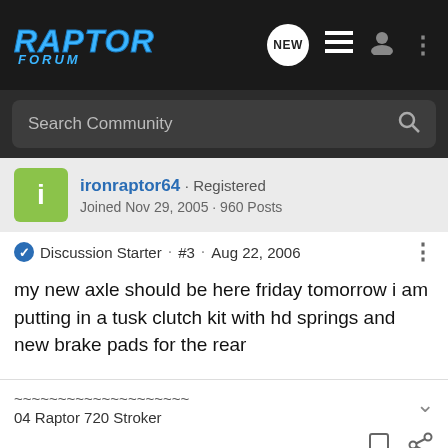RAPTOR FORUM
Search Community
ironraptor64 · Registered
Joined Nov 29, 2005 · 960 Posts
Discussion Starter · #3 · Aug 22, 2006
my new axle should be here friday tomorrow i am putting in a tusk clutch kit with hd springs and new brake pads for the rear
~~~~~~~~~~~~~~~~~~~~
04 Raptor 720 Stroker
[Figure (screenshot): Yamaha 2021 YFZ 450R advertisement banner with CLICK HERE button]